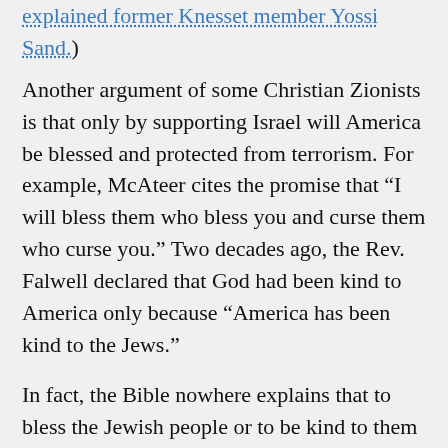explained former Knesset member Yossi Sand.)
Another argument of some Christian Zionists is that only by supporting Israel will America be blessed and protected from terrorism. For example, McAteer cites the promise that “I will bless them who bless you and curse them who curse you.” Two decades ago, the Rev. Falwell declared that God had been kind to America only because “America has been kind to the Jews.”
In fact, the Bible nowhere explains that to bless the Jewish people or to be kind to them requires that a secular state run by nominal Christians do whatever a secular government run by ethnic Jews wants done several thousand years later. This is junk theology at its worst.
Or almost worst. Sen. Inhofe said in a speech after Sept. 11 that “One of the reasons I believe the